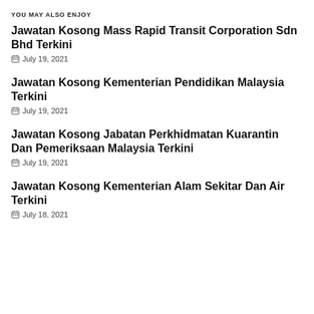YOU MAY ALSO ENJOY
Jawatan Kosong Mass Rapid Transit Corporation Sdn Bhd Terkini
July 19, 2021
Jawatan Kosong Kementerian Pendidikan Malaysia Terkini
July 19, 2021
Jawatan Kosong Jabatan Perkhidmatan Kuarantin Dan Pemeriksaan Malaysia Terkini
July 19, 2021
Jawatan Kosong Kementerian Alam Sekitar Dan Air Terkini
July 18, 2021